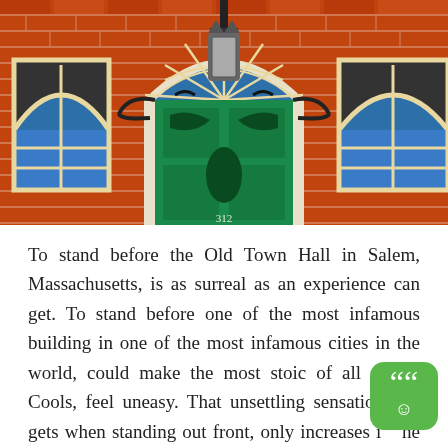[Figure (photo): Photograph of the facade of Old Town Hall in Salem, Massachusetts. A red brick building with arched windows on the sides and a large central arched doorway with a green painted double door, a fan window above, and an ornate iron lantern hanging from the arch. The number 312 is visible at the base of the door.]
To stand before the Old Town Hall in Salem, Massachusetts, is as surreal as an experience can get. To stand before one of the most infamous building in one of the most infamous cities in the world, could make the most stoic of all of the Cools, feel uneasy. That unsettling sensation one gets when standing out front, only increases in the evening hours when the shadows from tree